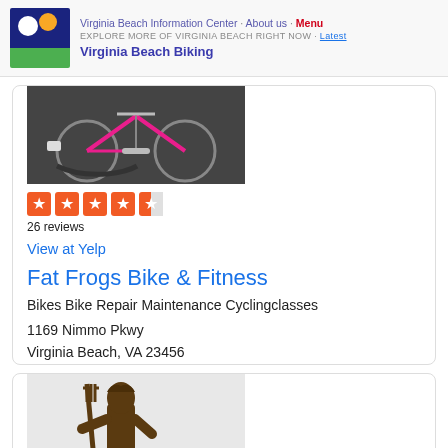Virginia Beach Information Center · About us · Menu
EXPLORE MORE OF VIRGINIA BEACH RIGHT NOW · Latest
Virginia Beach Biking
[Figure (photo): Photo of a pink bicycle lying on ground with lock cable]
[Figure (other): Yelp rating: 4.5 stars out of 5, 26 reviews]
26 reviews
View at Yelp
Fat Frogs Bike & Fitness
Bikes Bike Repair Maintenance Cyclingclasses
1169 Nimmo Pkwy
Virginia Beach, VA 23456
[Figure (photo): Photo of a bronze Neptune/Poseidon statue holding a trident]